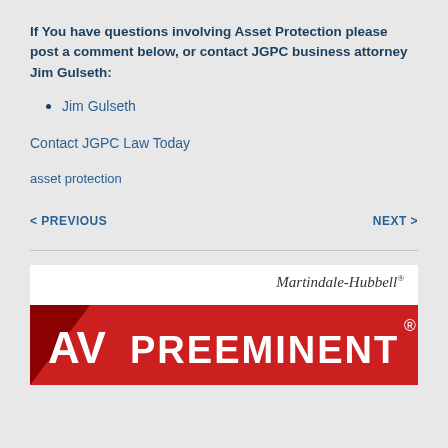If You have questions involving Asset Protection please post a comment below, or contact JGPC business attorney Jim Gulseth:
Jim Gulseth
Contact JGPC Law Today
asset protection
< PREVIOUS    NEXT >
[Figure (logo): Martindale-Hubbell AV Preeminent logo badge with red background and white text]